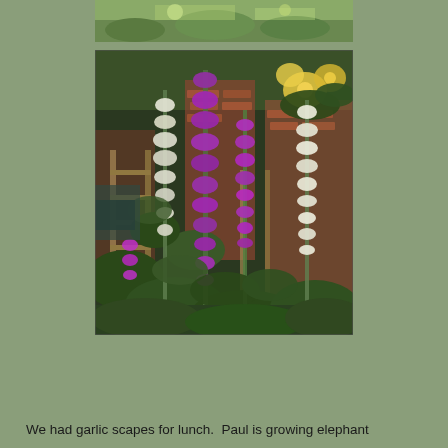[Figure (photo): Partial top image showing green grass and garden scene, cropped at top of page]
[Figure (photo): Garden photograph showing tall foxglove flowers (digitalis) in purple/magenta, white, and yellow colors growing in front of a brick wall with wooden ladders and yellow climbing roses, surrounded by lush green foliage]
We had garlic scapes for lunch.  Paul is growing elephant